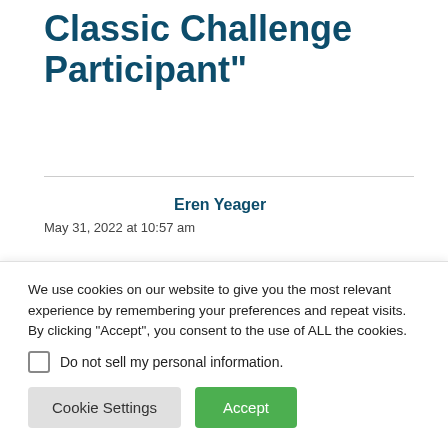Classic Challenge Participant"
Eren Yeager
May 31, 2022 at 10:57 am
Hello Everyone, I'm Eren. I'm here to write to interesting/boring stories of
We use cookies on our website to give you the most relevant experience by remembering your preferences and repeat visits. By clicking “Accept”, you consent to the use of ALL the cookies.
Do not sell my personal information.
Cookie Settings
Accept